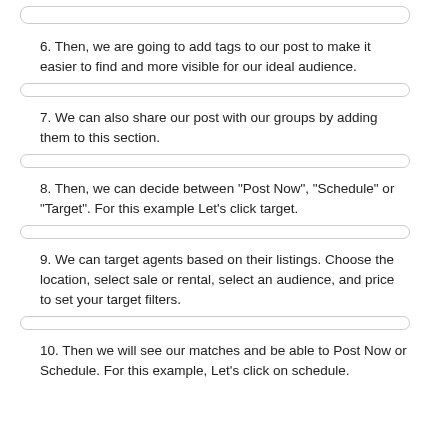[Figure (screenshot): Input/text field bar at top of page]
6. Then, we are going to add tags to our post to make it easier to find and more visible for our ideal audience.
[Figure (screenshot): Input/text field bar]
7. We can also share our post with our groups by adding them to this section.
[Figure (screenshot): Input/text field bar]
8. Then, we can decide between "Post Now", "Schedule" or "Target". For this example Let's click target.
[Figure (screenshot): Input/text field bar]
9. We can target agents based on their listings. Choose the location, select sale or rental, select an audience, and price to set your target filters.
[Figure (screenshot): Input/text field bar]
10. Then we will see our matches and be able to Post Now or Schedule. For this example, Let's click on schedule.